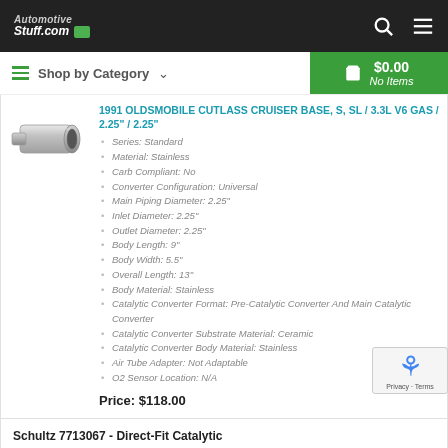Automotive Stuff.com [logo] [search icon] [menu icon]
Shop by Category ∨  $0.00 No Items
[Figure (photo): Catalytic converter product photo showing chrome/stainless steel pipe component]
1991 OLDSMOBILE CUTLASS CRUISER BASE, S, SL / 3.3L V6 GAS / 2.25" / 2.25"
Series: Standard
Material: Stainless
Carb Compliant: No
Converter Configuration: Universal
Main Piping Diameter: 2.25"
Inlet Diameter: 2.25"
Outlet Diameter: 2.25"
Body Length: 9"
Body Width: 5.5"
Overall Length: 13"
Body Material: Stainless
Catalytic Converter Format: Pre-Catalytic Converter And Main Catalytic Converter
Catalytic Converter Substrate Material: Ceramic
Catalytic Converter Body Material: Stainless
Air Tube Adapter: Not Adaptable
O2 Sensor Location: N/A
Price: $118.00
Schultz 7713067 - Direct-Fit Catalytic